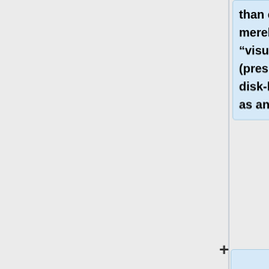than either the “verbal,” merely a guess, or the “visual” which a (presumably crude) disk-like device acted as an aide.
The researchers performed a two-way ANOVA (sex and social support) separately for each of the three measuring methods.  They reported the value of each